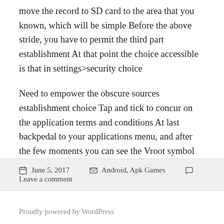move the record to SD card to the area that you known, which will be simple Before the above stride, you have to permit the third part establishment At that point the choice accessible is that in settings>security choice
Need to empower the obscure sources establishment choice Tap and tick to concur on the application terms and conditions At last backpedal to your applications menu, and after the few moments you can see the Vroot symbol For more data about Vroot Apk Download. For more Apk updates stay tuned Apk Cage.
June 5, 2017   Android, Apk Games   Leave a comment
Proudly powered by WordPress